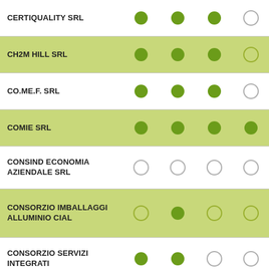| Company | Col1 | Col2 | Col3 | Col4 |
| --- | --- | --- | --- | --- |
| CERTIQUALITY SRL | filled | filled | filled | empty |
| CH2M HILL SRL | filled | filled | filled | empty |
| CO.ME.F. SRL | filled | filled | filled | empty |
| COMIE SRL | filled | filled | filled | filled |
| CONSIND ECONOMIA AZIENDALE SRL | empty | empty | empty | empty |
| CONSORZIO IMBALLAGGI ALLUMINIO CIAL | empty | filled | empty | empty |
| CONSORZIO SERVIZI INTEGRATI | filled | filled | empty | empty |
| CORAL ENGINEERING SRL | empty | empty | filled | empty |